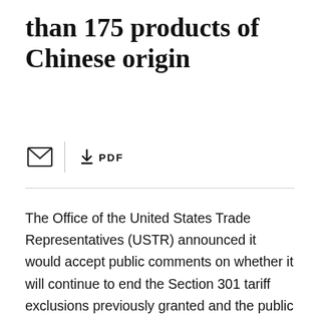than 175 products of Chinese origin
↓ PDF
The Office of the United States Trade Representatives (USTR) announced it would accept public comments on whether it will continue to end the Section 301 tariff exclusions previously granted and the public has a very short window of time to provide comments. On June 25, 2020, the USTR published two requests for comment: